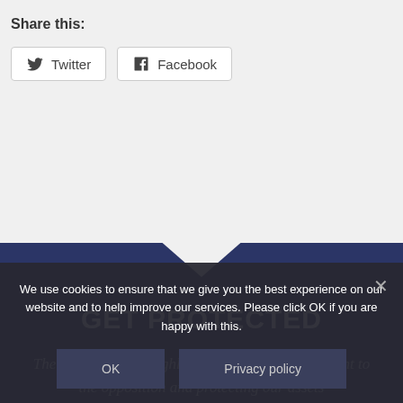Share this:
Twitter
Facebook
GET PROTECTED
The Mosquito was highly effective at taking the fight to the opposition and protecting our assets
We use cookies to ensure that we give you the best experience on our website and to help improve our services. Please click OK if you are happy with this.
OK
Privacy policy